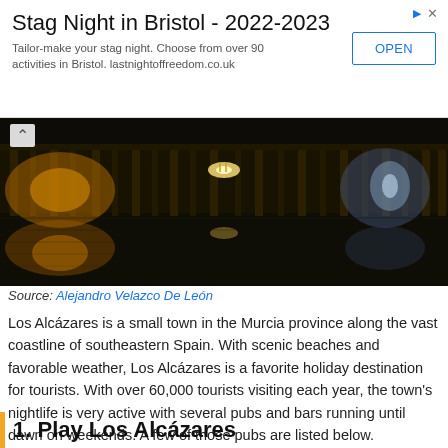[Figure (other): Advertisement banner for Stag Night in Bristol 2022-2023 with OPEN button]
[Figure (photo): Night-time panoramic photo of what appears to be an ornate building or palace reflected in water, with golden and blue lighting. A chandelier is visible.]
Source: Alejandro Velazco De León
Los Alcázares is a small town in the Murcia province along the vast coastline of southeastern Spain. With scenic beaches and favorable weather, Los Alcázares is a favorite holiday destination for tourists. With over 60,000 tourists visiting each year, the town's nightlife is very active with several pubs and bars running until dawn on weekends. A few of those pubs are listed below.
1. Play Los Alcázares